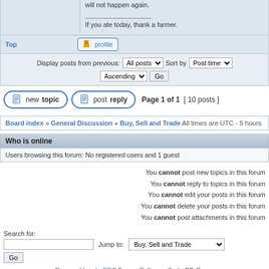will not happen again.

___________________
If you ate today, thank a farmer.
Top  [profile]
Display posts from previous: All posts  Sort by Post time  Ascending  Go
[new topic]  [post reply]  Page 1 of 1  [ 10 posts ]
Board index » General Discussion » Buy, Sell and Trade All times are UTC - 5 hours
Who is online
Users browsing this forum: No registered users and 1 guest
You cannot post new topics in this forum
You cannot reply to topics in this forum
You cannot edit your posts in this forum
You cannot delete your posts in this forum
You cannot post attachments in this forum
Search for:
Jump to: Buy, Sell and Trade
Go
Powered by phpBB® Forum Software © phpBB Group